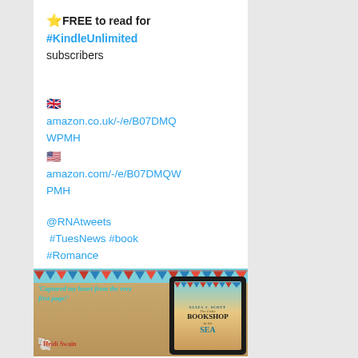⭐FREE to read for #KindleUnlimited subscribers
🇬🇧 amazon.co.uk/-/e/B07DMQWPMH 🇺🇸 amazon.com/-/e/B07DMQWPMH
@RNAtweets #TuesNews #book #Romance
[Figure (photo): Book cover image for 'The Little Bookshop by the Sea' by Eliza J. Scott, shown on a tablet device against a sandy beach background with bunting, shells, and a quote from Heidi Swain reading 'Captured my heart from the very first page!']